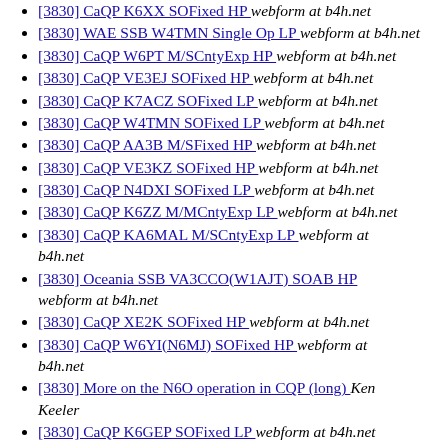[3830] CaQP K6XX SOFixed HP   webform at b4h.net
[3830] WAE SSB W4TMN Single Op LP   webform at b4h.net
[3830] CaQP W6PT M/SCntyExp HP   webform at b4h.net
[3830] CaQP VE3EJ SOFixed HP   webform at b4h.net
[3830] CaQP K7ACZ SOFixed LP   webform at b4h.net
[3830] CaQP W4TMN SOFixed LP   webform at b4h.net
[3830] CaQP AA3B M/SFixed HP   webform at b4h.net
[3830] CaQP VE3KZ SOFixed HP   webform at b4h.net
[3830] CaQP N4DXI SOFixed LP   webform at b4h.net
[3830] CaQP K6ZZ M/MCntyExp LP   webform at b4h.net
[3830] CaQP KA6MAL M/SCntyExp LP   webform at b4h.net
[3830] Oceania SSB VA3CCO(W1AJT) SOAB HP   webform at b4h.net
[3830] CaQP XE2K SOFixed HP   webform at b4h.net
[3830] CaQP W6YI(N6MJ) SOFixed HP   webform at b4h.net
[3830] More on the N6O operation in CQP (long)   Ken Keeler
[3830] CaQP K6GEP SOFixed LP   webform at b4h.net
[3830] CaQP K7GK SOFixed HP   webform at b4h.net
[3830] CQ WW RTTY SQ9C SOAB LP   webform at b4h.net
[3830] Oceania SSB F5IN SOSB/40 HP   webform at